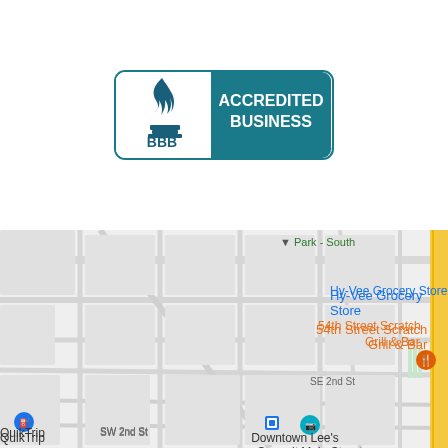[Figure (logo): Better Business Bureau (BBB) Accredited Business logo — white left panel with blue torch/flame BBB icon and 'BBB' text, teal right panel with white bold text 'ACCREDITED BUSINESS', registered trademark symbol]
[Figure (map): Google Maps screenshot showing a street map area with labels: 'Park - South' with green triangle pin at top center, 'Hy-Vee Grocery Store' in blue at upper right, '54th Street Scratch Grill & Bar' in orange at right, 'SE 2nd St' road label, 'SW 2nd St' road label, 'QuikTrip' with blue location pin at lower left, 'Downtown Lee's Summit Main Street' with teal camera pin at lower center-right. Yellow road visible at far right.]